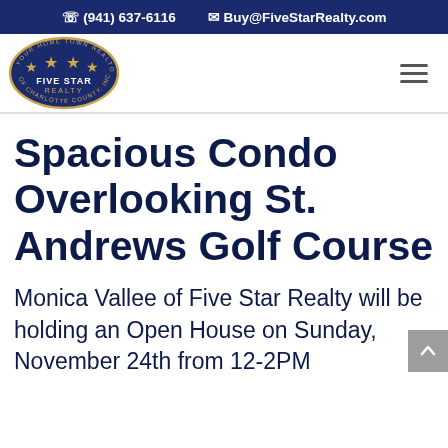(941) 637-6116  Buy@FiveStarRealty.com
[Figure (logo): Five Star Realty of Charlotte County logo — oval dark blue badge with gold stars and text 'YOUR HOME TOWN REALTOR OF CHARLOTTE COUNTY, INC.' with 'FIVE STAR REALTY' in center]
Spacious Condo Overlooking St. Andrews Golf Course
Monica Vallee of Five Star Realty will be holding an Open House on Sunday, November 24th from 12-2PM